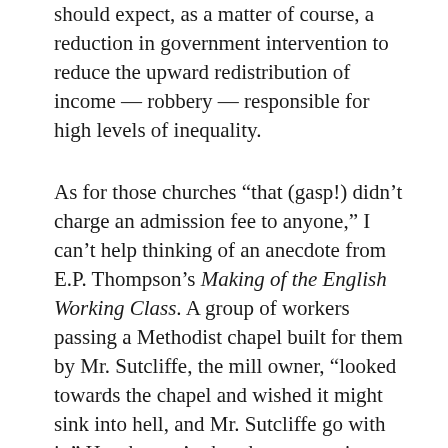should expect, as a matter of course, a reduction in government intervention to reduce the upward redistribution of income — robbery — responsible for high levels of inequality.
As for those churches “that (gasp!) didn’t charge an admission fee to anyone,” I can’t help thinking of an anecdote from E.P. Thompson’s Making of the English Working Class. A group of workers passing a Methodist chapel built for them by Mr. Sutcliffe, the mill owner, “looked towards the chapel and wished it might sink into hell, and Mr. Sutcliffe go with it.” Hornberger’s churches are a prime example of what Bastiat called “the unseen.” We can see